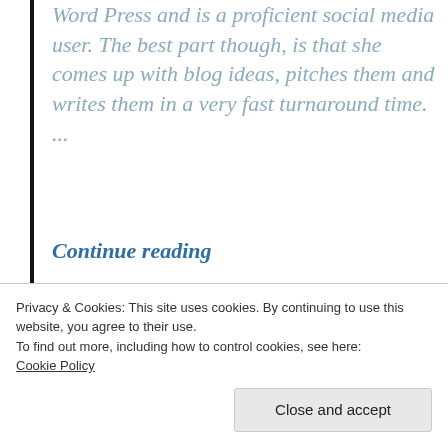Word Press and is a proficient social media user. The best part though, is that she comes up with blog ideas, pitches them and writes them in a very fast turnaround time. ...
Continue reading
Read More
Privacy & Cookies: This site uses cookies. By continuing to use this website, you agree to their use.
To find out more, including how to control cookies, see here: Cookie Policy